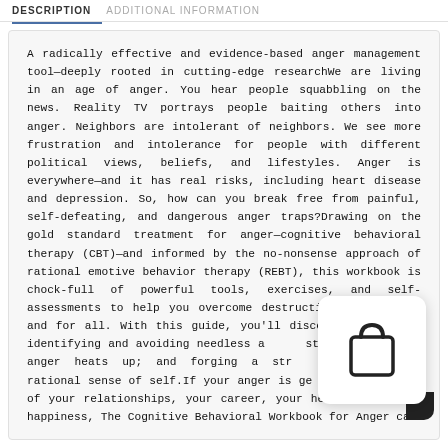DESCRIPTION  ADDITIONAL INFORMATION
A radically effective and evidence-based anger management tool—deeply rooted in cutting-edge researchWe are living in an age of anger. You hear people squabbling on the news. Reality TV portrays people baiting others into anger. Neighbors are intolerant of neighbors. We see more frustration and intolerance for people with different political views, beliefs, and lifestyles. Anger is everywhere—and it has real risks, including heart disease and depression. So, how can you break free from painful, self-defeating, and dangerous anger traps?Drawing on the gold standard treatment for anger—cognitive behavioral therapy (CBT)—and informed by the no-nonsense approach of rational emotive behavior therapy (REBT), this workbook is chock-full of powerful tools, exercises, and self-assessments to help you overcome destructive anger, once and for all. With this guide, you'll discover skills for identifying and avoiding needless anger; staying cool when anger heats up; and forging a strong, capable, and rational sense of self.If your anger is getting in the way of your relationships, your career, your health, and your happiness, The Cognitive Behavioral Workbook for Anger can